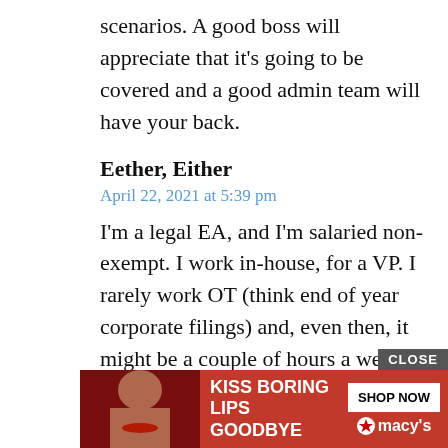scenarios. A good boss will appreciate that it's going to be covered and a good admin team will have your back.
Eether, Either
April 22, 2021 at 5:39 pm
I'm a legal EA, and I'm salaried non-exempt. I work in-house, for a VP. I rarely work OT (think end of year corporate filings) and, even then, it might be a couple of hours a week, for a week or so. But–when I worked at a big law firm, I basically doubled my salary working OT. I earned a lot of money, and I worked my way through my 30s. But, not all EA jobs are salaried. “Notnow” I would apply for the job anyway and ask how many hours you would be expected to work. Just because a company doesn't me[an it]... [have]
[Figure (other): Macy's advertisement banner: red background with 'KISS BORING LIPS GOODBYE' text, model photo, SHOP NOW button, and Macy's star logo. Has a CLOSE button in top right corner.]